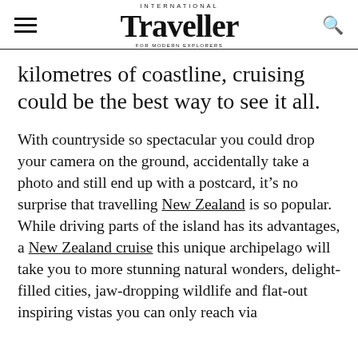International Traveller
kilometres of coastline, cruising could be the best way to see it all.
With countryside so spectacular you could drop your camera on the ground, accidentally take a photo and still end up with a postcard, it’s no surprise that travelling New Zealand is so popular. While driving parts of the island has its advantages, a New Zealand cruise this unique archipelago will take you to more stunning natural wonders, delight-filled cities, jaw-dropping wildlife and flat-out inspiring vistas you can only reach via